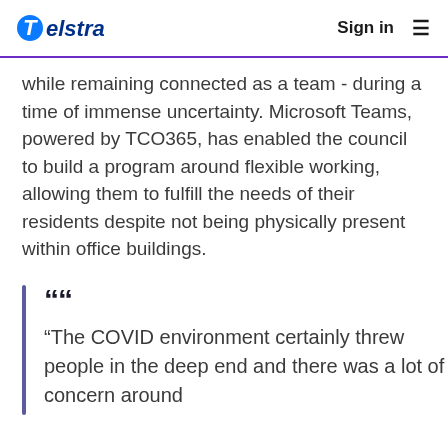Telstra | Sign in
while remaining connected as a team - during a time of immense uncertainty. Microsoft Teams, powered by TCO365, has enabled the council to build a program around flexible working, allowing them to fulfill the needs of their residents despite not being physically present within office buildings.
“The COVID environment certainly threw people in the deep end and there was a lot of concern around